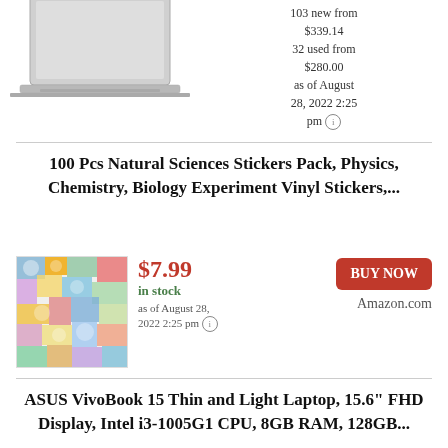[Figure (photo): Partial laptop image cropped at top]
103 new from $339.14
32 used from $280.00
as of August 28, 2022 2:25 pm ℹ
100 Pcs Natural Sciences Stickers Pack, Physics, Chemistry, Biology Experiment Vinyl Stickers,...
[Figure (photo): Colorful sticker pack product image showing many stickers]
$7.99
in stock
as of August 28, 2022 2:25 pm ℹ
BUY NOW
Amazon.com
ASUS VivoBook 15 Thin and Light Laptop, 15.6" FHD Display, Intel i3-1005G1 CPU, 8GB RAM, 128GB...